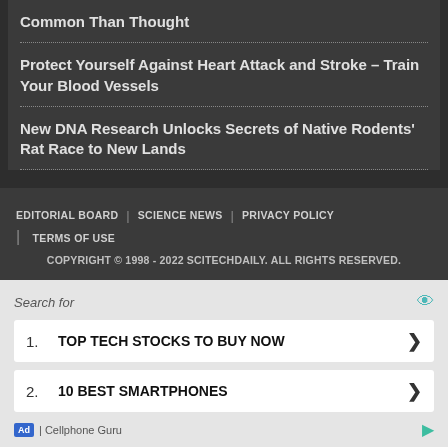Common Than Thought
Protect Yourself Against Heart Attack and Stroke – Train Your Blood Vessels
New DNA Research Unlocks Secrets of Native Rodents' Rat Race to New Lands
EDITORIAL BOARD | SCIENCE NEWS | PRIVACY POLICY | TERMS OF USE
COPYRIGHT © 1998 - 2022 SCITECHDAILY. ALL RIGHTS RESERVED.
[Figure (screenshot): Advertisement section with search prompt and two sponsored results: 1. TOP TECH STOCKS TO BUY NOW, 2. 10 BEST SMARTPHONES, attributed to Cellphone Guru]